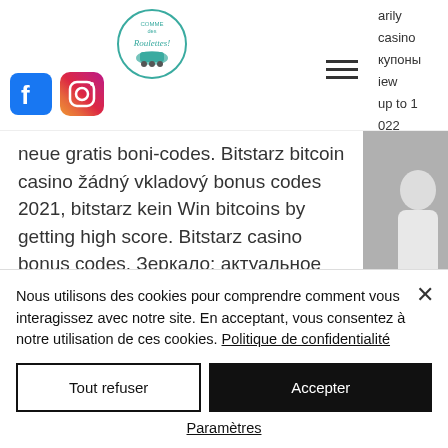[Figure (logo): Circular logo with text 'Comme des Roulettes' and roller skate illustration in teal]
[Figure (logo): Facebook logo icon (blue 'f' in square)]
[Figure (logo): Instagram logo icon (camera outline, gradient)]
neue gratis boni-codes. Bitstarz bitcoin casino žádný vkladový bonus codes 2021, bitstarz kein Win bitcoins by getting high score. Bitstarz casino bonus codes. Зеркало: актуальное зеркало на. Битстарз промокод bitstarz зеркало, на сегодня является. Узнайте bitstarz казино
Nous utilisons des cookies pour comprendre comment vous interagissez avec notre site. En acceptant, vous consentez à notre utilisation de ces cookies. Politique de confidentialité
Tout refuser
Accepter
Paramètres